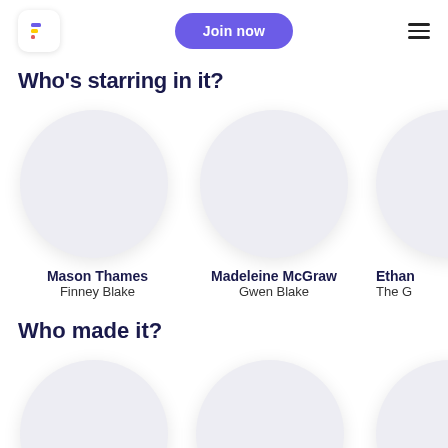Join now
Who's starring in it?
[Figure (illustration): Circular avatar placeholder for Mason Thames]
Mason Thames
Finney Blake
[Figure (illustration): Circular avatar placeholder for Madeleine McGraw]
Madeleine McGraw
Gwen Blake
[Figure (illustration): Partially visible circular avatar placeholder for Ethan (name cut off)]
Ethan
The G
Who made it?
[Figure (illustration): Partially visible circular avatar placeholder (bottom row, left)]
[Figure (illustration): Partially visible circular avatar placeholder (bottom row, center)]
[Figure (illustration): Partially visible circular avatar placeholder (bottom row, right, cropped)]